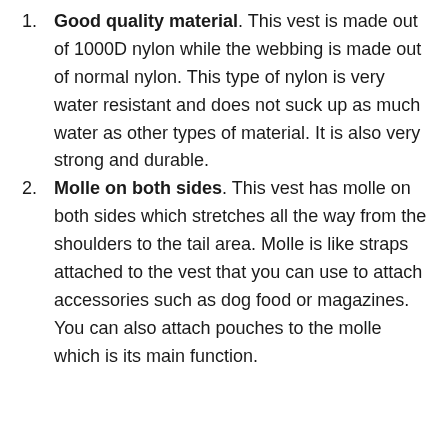Good quality material. This vest is made out of 1000D nylon while the webbing is made out of normal nylon. This type of nylon is very water resistant and does not suck up as much water as other types of material. It is also very strong and durable.
Molle on both sides. This vest has molle on both sides which stretches all the way from the shoulders to the tail area. Molle is like straps attached to the vest that you can use to attach accessories such as dog food or magazines. You can also attach pouches to the molle which is its main function.